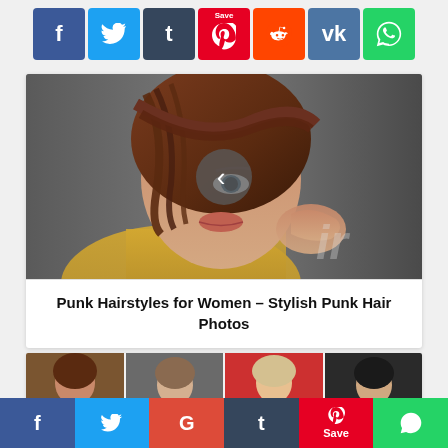[Figure (screenshot): Top social sharing buttons: Facebook (blue), Twitter (light blue), Tumblr (dark blue-gray), Pinterest with Save label (red), Reddit (orange-red), VK (blue), WhatsApp (green)]
[Figure (photo): Close-up portrait of a woman with short auburn/brown hair covering one eye, styled punk look, watermark 'ir' in bottom right, with a circular back-navigation arrow overlay in center]
Punk Hairstyles for Women – Stylish Punk Hair Photos
[Figure (photo): Row of four thumbnail photos showing women with various hairstyles]
[Figure (screenshot): Bottom social sharing bar: Facebook (dark blue), Twitter (light blue), Google+ (red), Tumblr (dark), Pinterest with Save label (red), WhatsApp (green)]